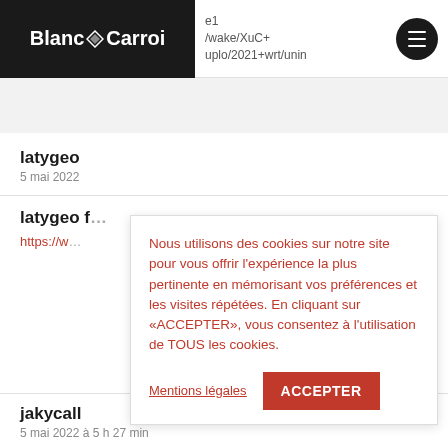Blanc N Carroi — header with logo and hamburger menu
latygeo
5 mai 2022
latygeo f…
https://w…
Nous utilisons des cookies sur notre site pour vous offrir l'expérience la plus pertinente en mémorisant vos préférences et les visites répétées. En cliquant sur «ACCEPTER», vous consentez à l'utilisation de TOUS les cookies.
Mentions légales
ACCEPTER
jakycall
5 mai 2022 à 5 h 27 min